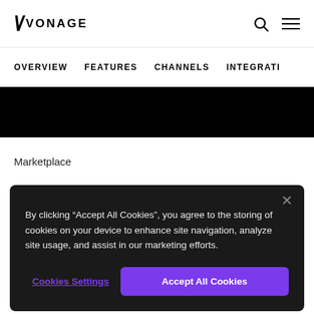VONAGE
OVERVIEW   FEATURES   CHANNELS   INTEGRATI
[Figure (other): Black hero band/banner background area]
Marketplace
By clicking "Accept All Cookies", you agree to the storing of cookies on your device to enhance site navigation, analyze site usage, and assist in our marketing efforts.
Cookies Settings
Accept All Cookies